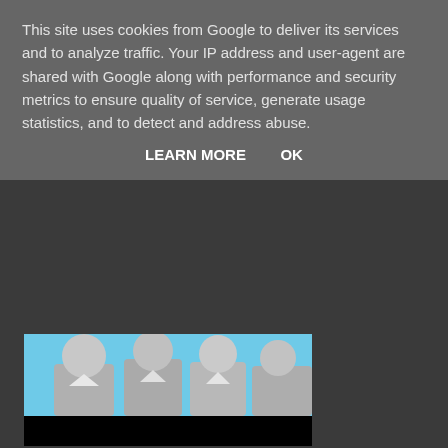This site uses cookies from Google to deliver its services and to analyze traffic. Your IP address and user-agent are shared with Google along with performance and security metrics to ensure quality of service, generate usage statistics, and to detect and address abuse.
LEARN MORE    OK
[Figure (illustration): Partial view of illustrated characters with light blue background, showing figures from waist up in grey tones, with a black bar below the image.]
DIRECT LINK
Colin Gazeley at 05:00   No comments:
Share
Sunday, 12 February 2017
The Raw Footage Awards 2016 -